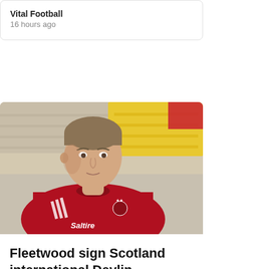Vital Football
16 hours ago
[Figure (photo): Male footballer in red Aberdeen FC jersey with Saltire sponsor logo, standing in front of blurred stadium seats (yellow and beige). Close-up portrait shot outdoors.]
Fleetwood sign Scotland international Devlin
Michael Devlin played just 51 games in an injury-ridden four-